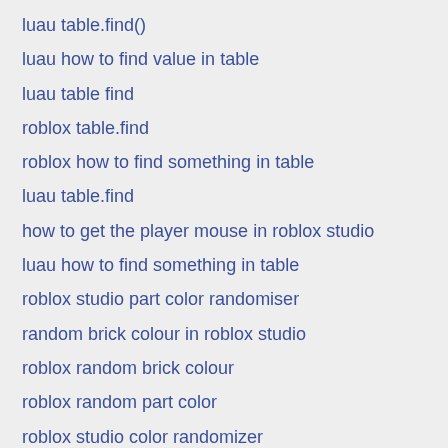luau table.find()
luau how to find value in table
luau table find
roblox table.find
roblox how to find something in table
luau table.find
how to get the player mouse in roblox studio
luau how to find something in table
roblox studio part color randomiser
random brick colour in roblox studio
roblox random brick colour
roblox random part color
roblox studio color randomizer
roblox studio random part color